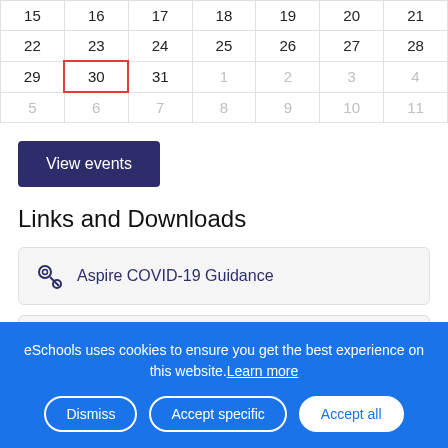|  |  |  |  |  |  |  |
| --- | --- | --- | --- | --- | --- | --- |
| 15 | 16 | 17 | 18 | 19 | 20 | 21 |
| 22 | 23 | 24 | 25 | 26 | 27 | 28 |
| 29 | 30 | 31 | 1 | 2 | 3 | 4 |
| 5 | 6 | 7 | 8 | 9 | 10 | 11 |
View events
Links and Downloads
Aspire COVID-19 Guidance
2022-23 Term Dates.pdf
FSM Application Form.pdf
eSchools uses cookies to ensure you get the best experience on this website. Learn more
Dismiss | Accept specific | Accept all